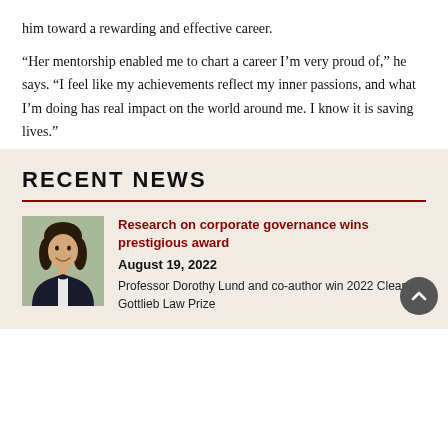him toward a rewarding and effective career.
“Her mentorship enabled me to chart a career I’m very proud of,” he says. “I feel like my achievements reflect my inner passions, and what I’m doing has real impact on the world around me. I know it is saving lives.”
RECENT NEWS
[Figure (photo): Headshot of Professor Dorothy Lund, a woman with long dark hair, smiling, wearing a dark jacket]
Research on corporate governance wins prestigious award
August 19, 2022
Professor Dorothy Lund and co-author win 2022 Cleary Gottlieb Law Prize